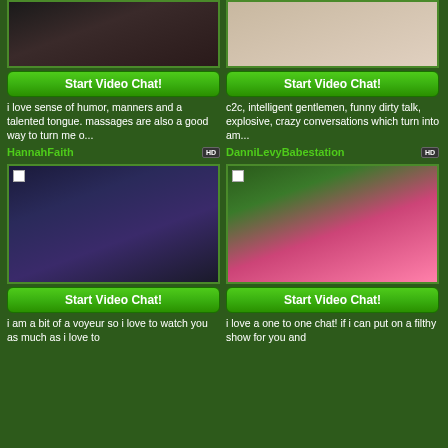[Figure (photo): Top photo of HannahFaith - woman in black top]
[Figure (photo): Top photo of DanniLevyBabestation - woman in white]
Start Video Chat!
Start Video Chat!
i love sense of humor, manners and a talented tongue. massages are also a good way to turn me o...
c2c, intelligent gentlemen, funny dirty talk, explosive, crazy conversations which turn into am...
HannahFaith
DanniLevyBabestation
[Figure (photo): Bottom photo of HannahFaith - woman in leopard print top and black skirt]
[Figure (photo): Bottom photo of DanniLevyBabestation - woman in pink outfit outdoors]
Start Video Chat!
Start Video Chat!
i am a bit of a voyeur so i love to watch you as much as i love to
i love a one to one chat! if i can put on a filthy show for you and